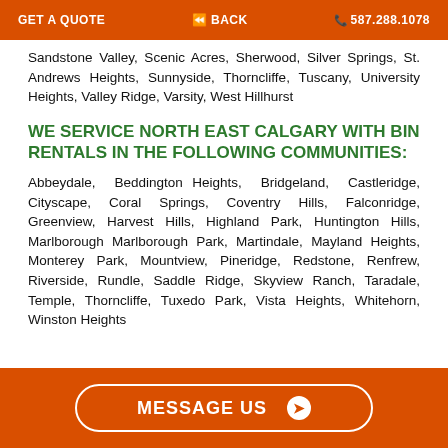GET A QUOTE   ⏪ BACK   📞 587.288.1078
Sandstone Valley, Scenic Acres, Sherwood, Silver Springs, St. Andrews Heights, Sunnyside, Thorncliffe, Tuscany, University Heights, Valley Ridge, Varsity, West Hillhurst
WE SERVICE NORTH EAST CALGARY WITH BIN RENTALS IN THE FOLLOWING COMMUNITIES:
Abbeydale, Beddington Heights, Bridgeland, Castleridge, Cityscape, Coral Springs, Coventry Hills, Falconridge, Greenview, Harvest Hills, Highland Park, Huntington Hills, Marlborough Marlborough Park, Martindale, Mayland Heights, Monterey Park, Mountview, Pineridge, Redstone, Renfrew, Riverside, Rundle, Saddle Ridge, Skyview Ranch, Taradale, Temple, Thorncliffe, Tuxedo Park, Vista Heights, Whitehorn, Winston Heights
MESSAGE US ❯